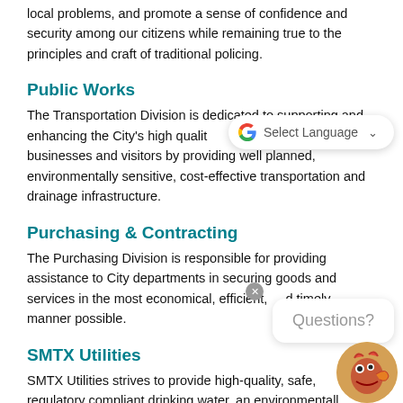local problems, and promote a sense of confidence and security among our citizens while remaining true to the principles and craft of traditional policing.
Public Works
The Transportation Division is dedicated to supporting and enhancing the City's high quality businesses and visitors by providing well planned, environmentally sensitive, cost-effective transportation and drainage infrastructure.
Purchasing & Contracting
The Purchasing Division is responsible for providing assistance to City departments in securing goods and services in the most economical, efficient, and timely manner possible.
SMTX Utilities
SMTX Utilities strives to provide high-quality, safe, regulatory compliant drinking water, an environmentally sound sanitary sewer system, and innovative energy